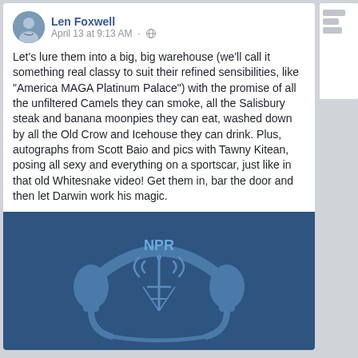Len Foxwell
April 13 at 9:13 AM
Let's lure them into a big, big warehouse (we'll call it something real classy to suit their refined sensibilities, like "America MAGA Platinum Palace") with the promise of all the unfiltered Camels they can smoke, all the Salisbury steak and banana moonpies they can eat, washed down by all the Old Crow and Icehouse they can drink. Plus, autographs from Scott Baio and pics with Tawny Kitean, posing all sexy and everything on a sportscar, just like in that old Whitesnake video! Get them in, bar the door and then let Darwin work his magic.
[Figure (logo): NPR logo with headphones and radio tower on dark blue background]